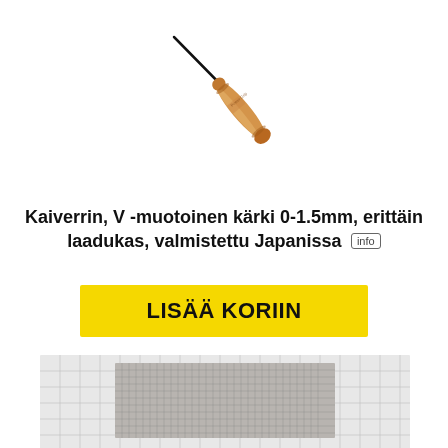[Figure (photo): A wood-handled engraving tool (kaiverrin) with a thin black metal tip, shown diagonally against a white background.]
Kaiverrin, V -muotoinen kärki 0-1.5mm, erittäin laadukas, valmistettu Japanissa  info
LISÄÄ KORIIN
[Figure (photo): A metal mesh/wire cloth material shown on a white background, with a finer mesh insert in the center.]